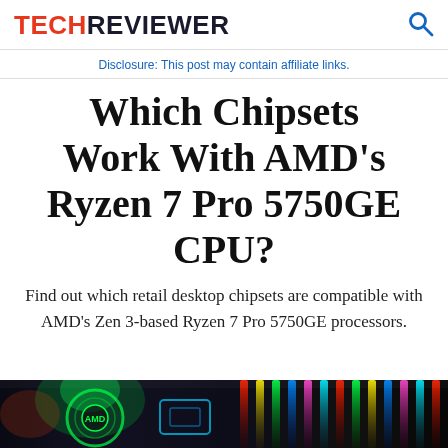TECHREVIEWER
Disclosure: This post may contain affiliate links.
Which Chipsets Work With AMD's Ryzen 7 Pro 5750GE CPU?
Find out which retail desktop chipsets are compatible with AMD's Zen 3-based Ryzen 7 Pro 5750GE processors.
[Figure (photo): Colorful RGB-lit computer hardware components with neon lighting in dark background]